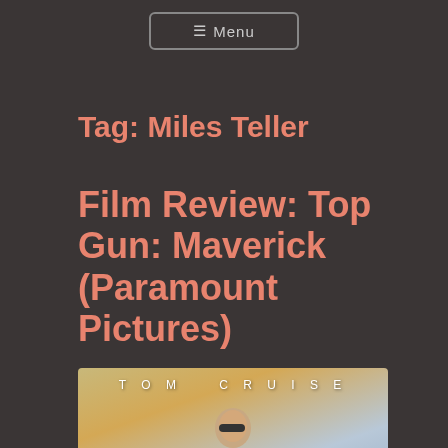≡ Menu
Tag: Miles Teller
Film Review: Top Gun: Maverick (Paramount Pictures)
[Figure (photo): Movie poster for Top Gun: Maverick showing Tom Cruise with 'TOM CRUISE' text at top, golden/sandy color tones]